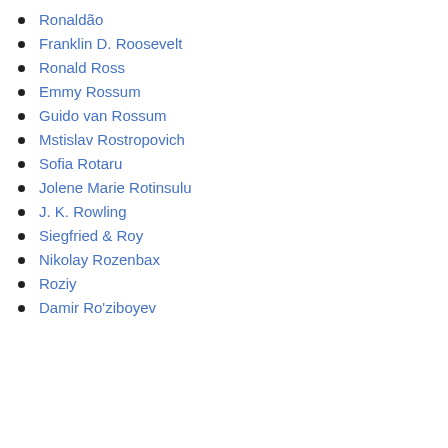Ronaldão
Franklin D. Roosevelt
Ronald Ross
Emmy Rossum
Guido van Rossum
Mstislav Rostropovich
Sofia Rotaru
Jolene Marie Rotinsulu
J. K. Rowling
Siegfried & Roy
Nikolay Rozenbax
Roziy
Damir Ro'ziboyev